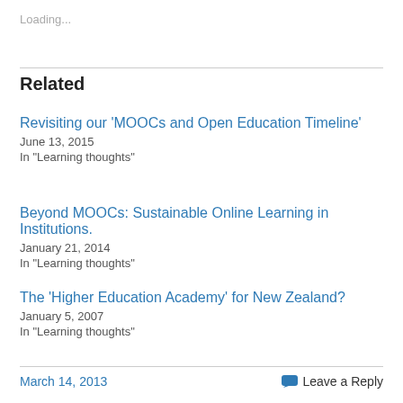Loading...
Related
Revisiting our 'MOOCs and Open Education Timeline'
June 13, 2015
In "Learning thoughts"
Beyond MOOCs: Sustainable Online Learning in Institutions.
January 21, 2014
In "Learning thoughts"
The 'Higher Education Academy' for New Zealand?
January 5, 2007
In "Learning thoughts"
March 14, 2013    Leave a Reply